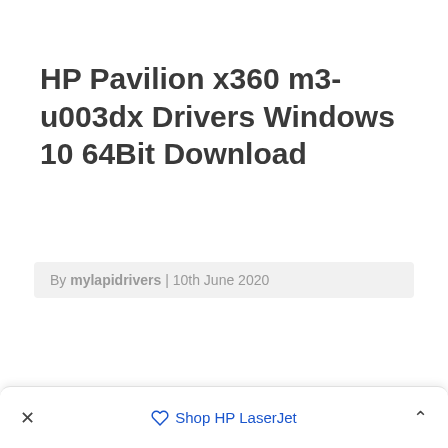HP Pavilion x360 m3-u003dx Drivers Windows 10 64Bit Download
By mylapidrivers | 10th June 2020
× Shop HP LaserJet ^